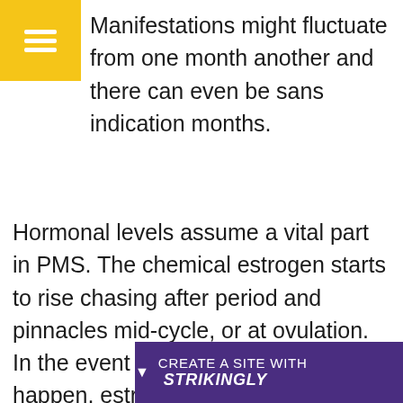[Figure (other): Yellow hamburger menu icon button in top-left corner]
Manifestations might fluctuate from one month another and there can even be sans indication months.
Hormonal levels assume a vital part in PMS. The chemical estrogen starts to rise chasing after period and pinnacles mid-cycle, or at ovulation. In the event that pregnancy doesn't happen, estrogen levels quickly decrease following ovulation and rise again not long before the beginning of feminine cycle. Since estrogen will in general draw in liquids in the body, swelling ordin's more
[Figure (other): Purple banner at bottom reading CREATE A SITE WITH strikingly]